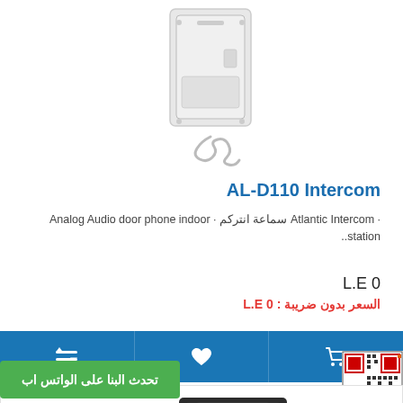[Figure (photo): White wall-mounted intercom handset unit (AL-D110) with coiled cable]
AL-D110 Intercom
· Atlantic Intercom سماعة انتركم · Analog Audio door phone indoor station..
L.E 0
السعر بدون ضريبة : 0 L.E
[Figure (other): Action bar with compare, wishlist, and cart icons on blue background]
[Figure (other): QR code in bottom right corner]
[Figure (photo): Black intercom door panel unit visible in lower card]
تحدث البنا على الواتس اب